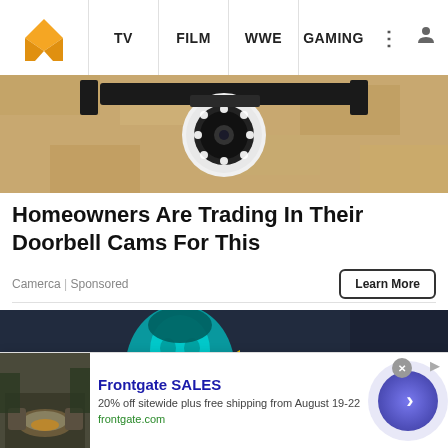TV | FILM | WWE | GAMING
[Figure (photo): Security camera mounted on a wall, close-up photo showing a round white camera with LED ring lights]
Homeowners Are Trading In Their Doorbell Cams For This
Camerca | Sponsored
Learn More
[Figure (photo): Night-vision style photo of a woman with teal/blue coloring and a large yellow arrow pointing left]
[Figure (photo): Advertisement overlay: Frontgate SALES - 20% off sitewide plus free shipping from August 19-22. frontgate.com]